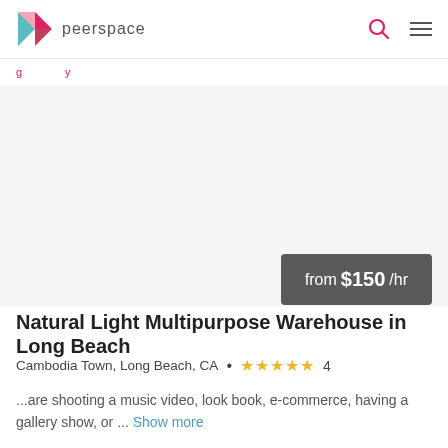peerspace
g...y
[Figure (photo): Large photo area of a warehouse space — appears mostly white/empty]
from $150 /hr
Natural Light Multipurpose Warehouse in Long Beach
Cambodia Town, Long Beach, CA • ★★★★★ 4
...are shooting a music video, look book, e-commerce, having a gallery show, or ... Show more